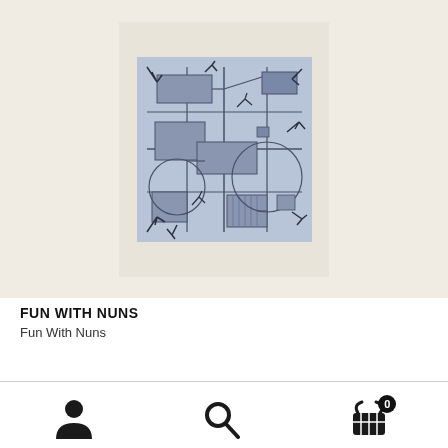[Figure (illustration): Album cover artwork for 'Fun With Nuns' — a square blue-toned abstract artwork featuring geometric lines, rectangles, and organic branch-like marks on a light blue background, mounted on a cream/beige paper background]
FUN WITH NUNS
Fun With Nuns
[Figure (infographic): Bottom navigation bar with three icons: a user/person icon on the left, a search/magnifying glass icon in the center, and a shopping basket icon with a '0' badge on the right]